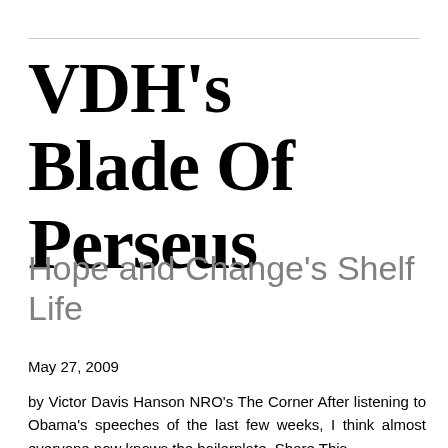VDH's Blade Of Perseus
Hope and Change's Shelf Life
May 27, 2009
by Victor Davis Hanson NRO's The Corner After listening to Obama's speeches of the last few weeks, I think almost everyone now knows the boilerplate. Share This